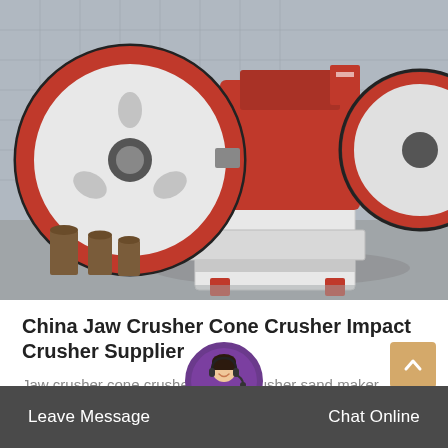[Figure (photo): Industrial jaw crusher machine with large red and white flywheel, mounted on white base frame, photographed outdoors against a tiled wall background.]
China Jaw Crusher Cone Crusher Impact Crusher Supplier
Jaw crusher cone crusher impact crusher sand maker mobile crusher conveyor vibrating screen vibrating feeder crusher spare parts conveyor…
Leave Message  Chat Online